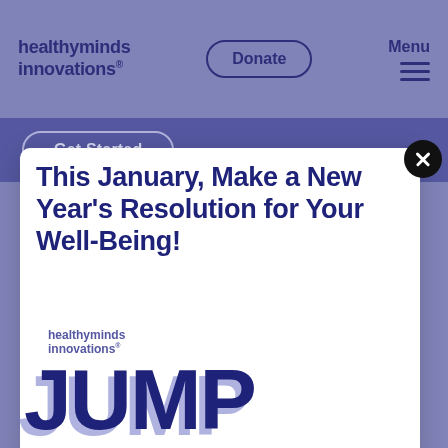healthyminds innovations | Donate | Menu
Get Started
This January, Make a New Year's Resolution for Your Well-Being!
[Figure (logo): healthyminds innovations logo in periwinkle/dark blue, small size]
JUMP START